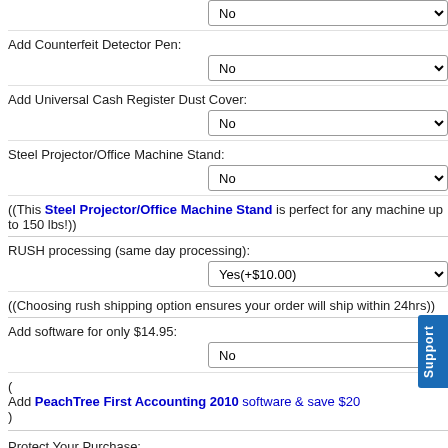No (dropdown, top)
Add Counterfeit Detector Pen:
No (dropdown)
Add Universal Cash Register Dust Cover:
No (dropdown)
Steel Projector/Office Machine Stand:
No (dropdown)
((This Steel Projector/Office Machine Stand is perfect for any machine up to 150 lbs!))
RUSH processing (same day processing):
Yes(+$10.00) (dropdown)
((Choosing rush shipping option ensures your order will ship within 24hrs))
Add software for only $14.95:
No (dropdown)
( Add PeachTree First Accounting 2010 software & save $20 )
Protect Your Purchase:
1 Year Parts & Labor(+$50.00)   2 Year Parts & Labor(+$75.00)